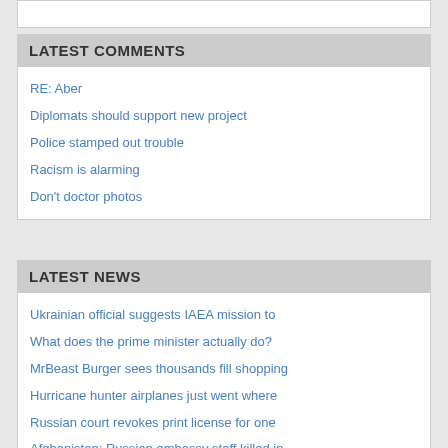LATEST COMMENTS
RE: Aber
Diplomats should support new project
Police stamped out trouble
Racism is alarming
Don't doctor photos
LATEST NEWS
Ukrainian official suggests IAEA mission to
What does the prime minister actually do?
MrBeast Burger sees thousands fill shopping
Hurricane hunter airplanes just went where
Russian court revokes print license for one
Afghanistan: Russian embassy staff killed in
MOTD 2 Analysis: 'Unstoppable' Erling